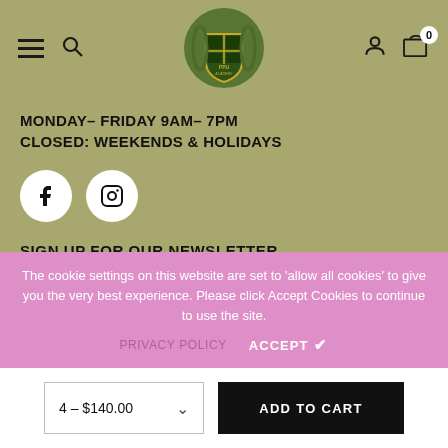Navigation header with hamburger menu, search, logo, account, cart (0)
MONDAY– FRIDAY 9AM– 7PM
CLOSED: WEEKENDS & HOLIDAYS
[Figure (illustration): Facebook and Instagram social media icon buttons (white circles with icons)]
SIGN UP FOR OUR NEWSLETTER
enter your email address
The cookie settings on this website are set to 'allow all cookies' to give you the very best experience. Please click Accept Cookies to continue to use the site.
PRIVACY POLICY   ACCEPT ✔
4 – $140.00   ADD TO CART